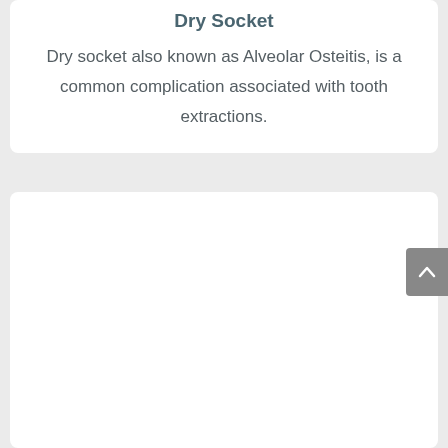Dry Socket
Dry socket also known as Alveolar Osteitis, is a common complication associated with tooth extractions.
[Figure (other): Empty white card section below the text card, representing a content area placeholder on a medical information page. A grey scroll-to-top button with an upward chevron arrow is visible on the right edge.]